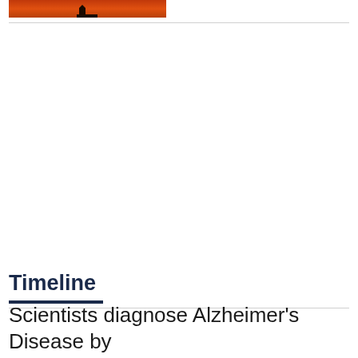[Figure (photo): Silhouette of a person against an orange/red sunset sky]
Timeline
Scientists diagnose Alzheimer’s Disease by